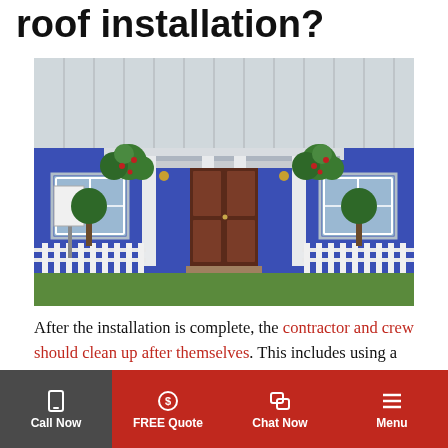roof installation?
[Figure (photo): A blue house with a metal roof, white picket fence, hanging flower baskets, and a walkway leading to a dark wood front door with columns.]
After the installation is complete, the contractor and crew should clean up after themselves. This includes using a metal detector to pick up any shards or nails that were dropped, putting back
Call Now | FREE Quote | Chat Now | Menu